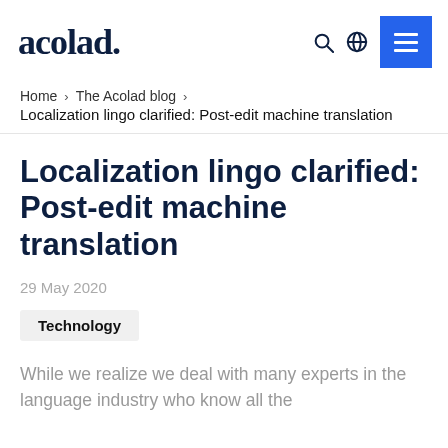acolad.
Home › The Acolad blog › Localization lingo clarified: Post-edit machine translation
Localization lingo clarified: Post-edit machine translation
29 May 2020
Technology
While we realize we deal with many experts in the language industry who know all the